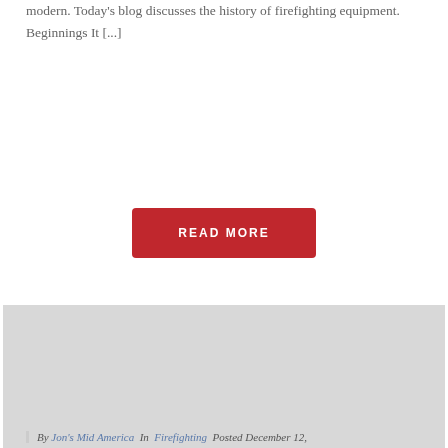modern. Today's blog discusses the history of firefighting equipment. Beginnings It [...]
READ MORE
[Figure (other): Grey placeholder image block]
By Jon's Mid America  In  Firefighting  Posted  December 12,